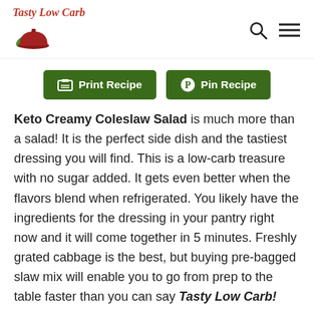Tasty Low Carb
[Figure (logo): Tasty Low Carb logo with red bowl and green leaf]
Print Recipe | Pin Recipe
Keto Creamy Coleslaw Salad is much more than a salad! It is the perfect side dish and the tastiest dressing you will find. This is a low-carb treasure with no sugar added. It gets even better when the flavors blend when refrigerated. You likely have the ingredients for the dressing in your pantry right now and it will come together in 5 minutes. Freshly grated cabbage is the best, but buying pre-bagged slaw mix will enable you to go from prep to the table faster than you can say Tasty Low Carb!